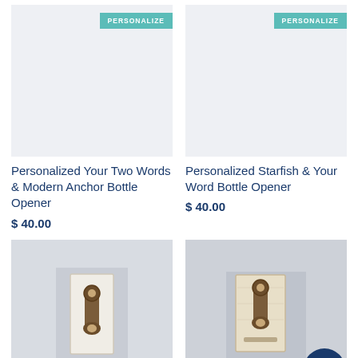[Figure (photo): Light grey/blue placeholder image for product with PERSONALIZE badge top right]
Personalized Your Two Words & Modern Anchor Bottle Opener
$ 40.00
[Figure (photo): Light grey/blue placeholder image for product with PERSONALIZE badge top right]
Personalized Starfish & Your Word Bottle Opener
$ 40.00
[Figure (photo): Photo of white wood mounted bottle opener on wall background with PERSONALIZE badge]
[Figure (photo): Photo of wooden board mounted bottle opener on wall background with PERSONALIZE badge and gift icon overlay]